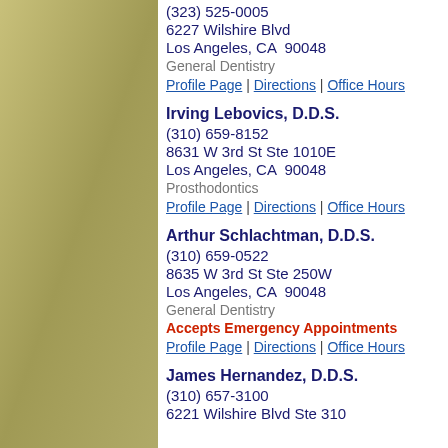(323) 525-0005
6227 Wilshire Blvd
Los Angeles, CA  90048
General Dentistry
Profile Page | Directions | Office Hours
Irving Lebovics, D.D.S.
(310) 659-8152
8631 W 3rd St Ste 1010E
Los Angeles, CA  90048
Prosthodontics
Profile Page | Directions | Office Hours
Arthur Schlachtman, D.D.S.
(310) 659-0522
8635 W 3rd St Ste 250W
Los Angeles, CA  90048
General Dentistry
Accepts Emergency Appointments
Profile Page | Directions | Office Hours
James Hernandez, D.D.S.
(310) 657-3100
6221 Wilshire Blvd Ste 310